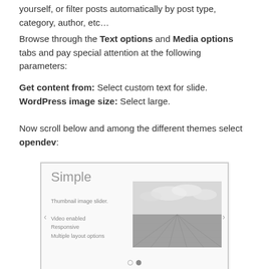yourself, or filter posts automatically by post type, category, author, etc…
Browse through the Text options and Media options tabs and pay special attention at the following parameters:
Get content from: Select custom text for slide. WordPress image size: Select large.
Now scroll below and among the different themes select opendev:
[Figure (screenshot): Screenshot of a slider theme selector showing 'Simple' theme with a thumbnail image slider, video enabled, responsive, multiple layout options text, and a landscape photo preview. Navigation arrows and pagination dots are visible.]